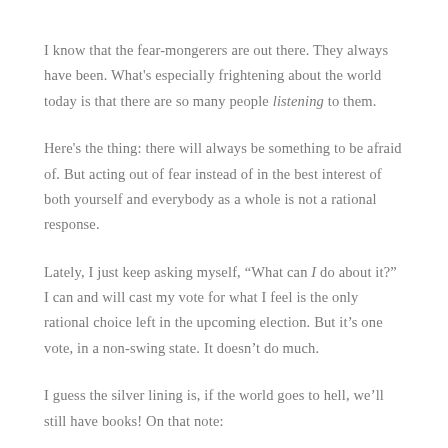I know that the fear-mongerers are out there. They always have been. What's especially frightening about the world today is that there are so many people listening to them.
Here's the thing: there will always be something to be afraid of. But acting out of fear instead of in the best interest of both yourself and everybody as a whole is not a rational response.
Lately, I just keep asking myself, “What can I do about it?” I can and will cast my vote for what I feel is the only rational choice left in the upcoming election. But it’s one vote, in a non-swing state. It doesn’t do much.
I guess the silver lining is, if the world goes to hell, we’ll still have books! On that note: